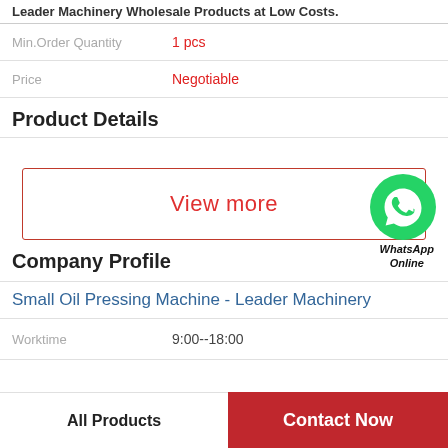Leader Machinery Wholesale Products at Low Costs.
Min.Order Quantity    1 pcs
Price    Negotiable
Product Details
[Figure (other): View more button with WhatsApp Online icon overlay]
Company Profile
Small Oil Pressing Machine - Leader Machinery
Worktime    9:00--18:00
All Products    Contact Now